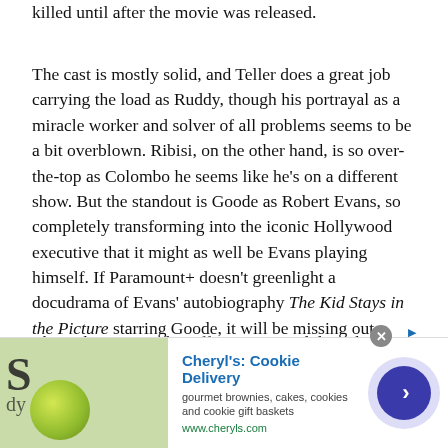killed until after the movie was released.
The cast is mostly solid, and Teller does a great job carrying the load as Ruddy, though his portrayal as a miracle worker and solver of all problems seems to be a bit overblown. Ribisi, on the other hand, is so over-the-top as Colombo he seems like he’s on a different show. But the standout is Goode as Robert Evans, so completely transforming into the iconic Hollywood executive that it might as well be Evans playing himself. If Paramount+ doesn’t greenlight a docudrama of Evans’ autobiography The Kid Stays in the Picture starring Goode, it will be missing out.
Through Evans, “The Offer” gets to indulge a bit in telling the story of Paramount in general in the
[Figure (other): Advertisement banner for Cheryl's Cookie Delivery showing a food image on the left, ad text in the middle, and a blue navigation button on the right.]